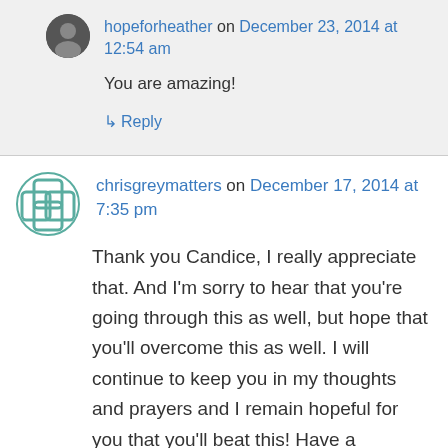hopeforheather on December 23, 2014 at 12:54 am
You are amazing!
↳ Reply
chrisgreymatters on December 17, 2014 at 7:35 pm
Thank you Candice, I really appreciate that. And I'm sorry to hear that you're going through this as well, but hope that you'll overcome this as well. I will continue to keep you in my thoughts and prayers and I remain hopeful for you that you'll beat this! Have a wonderful holiday with your family and stay well!